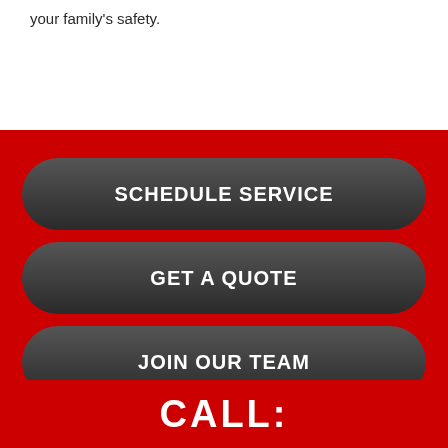your family's safety.
SCHEDULE SERVICE
GET A QUOTE
JOIN OUR TEAM
CALL: